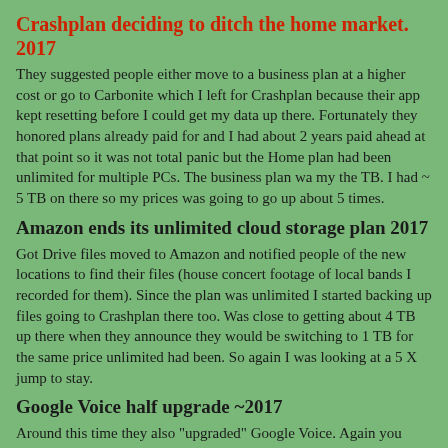Crashplan deciding to ditch the home market. 2017
They suggested people either move to a business plan at a higher cost or go to Carbonite which I left for Crashplan because their app kept resetting before I could get my data up there. Fortunately they honored plans already paid for and I had about 2 years paid ahead at that point so it was not total panic but the Home plan had been unlimited for multiple PCs. The business plan wa my the TB. I had ~ 5 TB on there so my prices was going to go up about 5 times.
Amazon ends its unlimited cloud storage plan 2017
Got Drive files moved to Amazon and notified people of the new locations to find their files (house concert footage of local bands I recorded for them). Since the plan was unlimited I started backing up files going to Crashplan there too. Was close to getting about 4 TB up there when they announce they would be switching to 1 TB for the same price unlimited had been. So again I was looking at a 5 X jump to stay.
Google Voice half upgrade ~2017
Around this time they also "upgraded" Google Voice. Again you